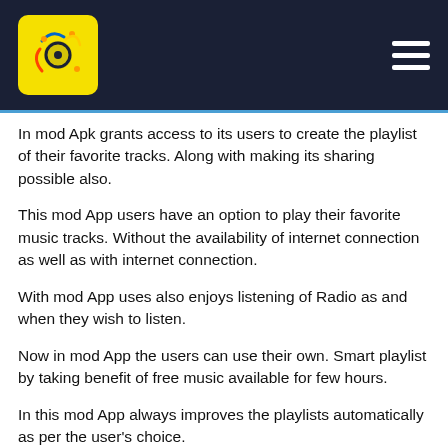Logo and navigation header
In mod Apk grants access to its users to create the playlist of their favorite tracks. Along with making its sharing possible also.
This mod App users have an option to play their favorite music tracks. Without the availability of internet connection as well as with internet connection.
With mod App uses also enjoys listening of Radio as and when they wish to listen.
Now in mod App the users can use their own. Smart playlist by taking benefit of free music available for few hours.
In this mod App always improves the playlists automatically as per the user's choice.
WIth in this mod App provides the users a very massive music library. The total shows millions of tracks and more. The total data